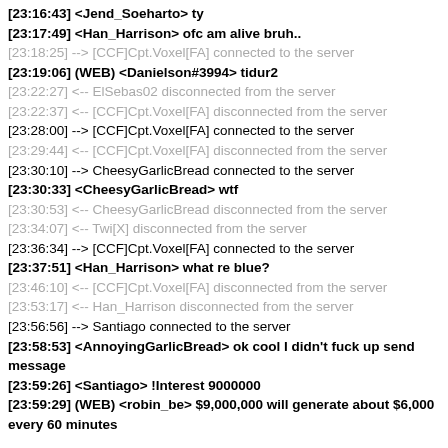[23:16:43] <Jend_Soeharto> ty
[23:17:49] <Han_Harrison> ofc am alive bruh..
[23:18:25] --> [CCF]Cpt.Voxel[FA] connected to the server
[23:19:06] (WEB) <Danielson#3994> tidur2
[23:22:27] <-- ElSebas02 disconnected from the server
[23:22:37] <-- [CCF]Cpt.Voxel[FA] disconnected from the server
[23:28:00] --> [CCF]Cpt.Voxel[FA] connected to the server
[23:29:44] <-- [CCF]Cpt.Voxel[FA] disconnected from the server
[23:30:10] --> CheesyGarlicBread connected to the server
[23:30:33] <CheesyGarlicBread> wtf
[23:30:53] <-- CheesyGarlicBread disconnected from the server
[23:34:07] <-- Twi[X] disconnected from the server
[23:36:34] --> [CCF]Cpt.Voxel[FA] connected to the server
[23:37:51] <Han_Harrison> what re blue?
[23:46:10] <-- [CCF]Cpt.Voxel[FA] disconnected from the server
[23:53:17] <-- Han_Harrison disconnected from the server
[23:56:56] --> Santiago connected to the server
[23:58:53] <AnnoyingGarlicBread> ok cool I didn't fuck up send message
[23:59:26] <Santiago> !Interest 9000000
[23:59:29] (WEB) <robin_be> $9,000,000 will generate about $6,000 every 60 minutes
back